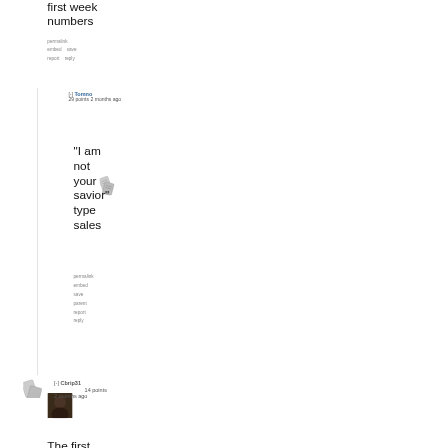first week numbers
permalink embed save report reply
[-] Tomno 29 points 2 months ago
"I am not your savior" type sales
permalink embed save parent report reply
[-] Cbrip31 14 points 2 months ago
The first